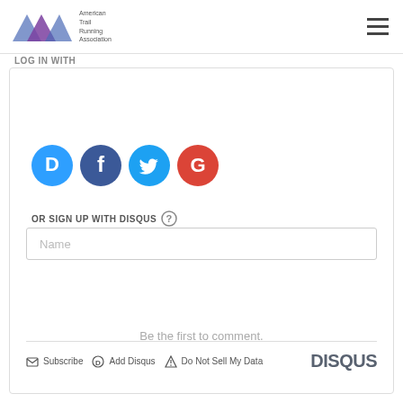ATRA - American Trail Running Association
LOG IN WITH
[Figure (screenshot): Social login icons: Disqus (blue circle with D), Facebook (blue circle with f), Twitter (cyan circle with bird), Google (red circle with G)]
OR SIGN UP WITH DISQUS
Name
Be the first to comment.
Subscribe  Add Disqus  Do Not Sell My Data  DISQUS